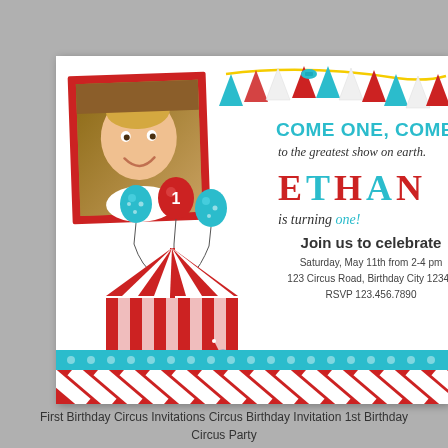[Figure (illustration): First birthday circus party invitation card featuring a baby photo on the left in a red frame, circus tent with balloons, lion and elephant circus animals, colorful bunting banner, teal polka dot and red stripe decorative elements. Right side has the invitation text.]
First Birthday Circus Invitations Circus Birthday Invitation 1st Birthday Circus Party